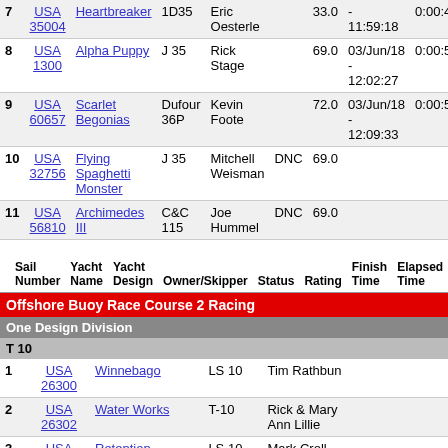| # | Sail Number | Yacht Name | Yacht Design | Owner/Skipper | Status | Rating | Finish Time | Elapsed Time | Corrected Time |
| --- | --- | --- | --- | --- | --- | --- | --- | --- | --- |
| 7 | USA 35004 | Heartbreaker | 1D35 | Eric Oesterle |  | 33.0 | - 11:59:18 | 0:00:49:18 | 0:00:4... |
| 8 | USA 1300 | Alpha Puppy | J 35 | Rick Stage |  | 69.0 | 03/Jun/18 - 12:02:27 | 0:00:52:27 | 0:00:4... |
| 9 | USA 60657 | Scarlet Begonias | Dufour 36P | Kevin Foote |  | 72.0 | 03/Jun/18 - 12:09:33 | 0:00:59:33 | 0:00:5... |
| 10 | USA 32756 | Flying Spaghetti Monster | J 35 | Mitchell Weisman | DNC | 69.0 |  |  |  |
| 11 | USA 56810 | Archimedes III | C&C 115 | Joe Hummel | DNC | 69.0 |  |  |  |
| Sail Number | Yacht Name | Yacht Design | Owner/Skipper | Status | Rating | Finish Time | Elapsed Time | Corrected Time |
| --- | --- | --- | --- | --- | --- | --- | --- | --- |
Offshore Buoy Race Course 2 Racing
One Design Division
T 10
| # | Sail Number | Yacht Name | Yacht Design | Owner/Skipper |
| --- | --- | --- | --- | --- |
| 1 | USA 26300 | Winnebago | LS 10 | Tim Rathbun |
| 2 | USA 26302 | Water Works | T-10 | Rick & Mary Ann Lillie |
| 3 | USA 410 | Retention | LS 10 | Mark Croll |
| 4 | USA 40433 | Meat | T-10 | Brian Kennalley, Edward Mui, Craig Roehl |
| 5 | USA 311 | Mutiny | T-10 | John Schellenbach |
| 6 | USA ... | Erica | T-10 | Brian Kaczor |